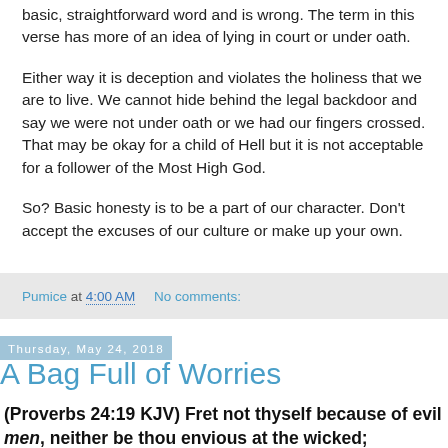basic, straightforward word and is wrong.  The term in this verse has more of an idea of lying in court or under oath.
Either way it is deception and violates the holiness that we are to live.  We cannot hide behind the legal backdoor and say we were not under oath or we had our fingers crossed.  That may be okay for a child of Hell but it is not acceptable for a follower of the Most High God.
So?  Basic honesty is to be a part of our character.  Don't accept the excuses of our culture or make up your own.
Pumice at 4:00 AM    No comments:
Thursday, May 24, 2018
A Bag Full of Worries
(Proverbs 24:19 KJV)  Fret not thyself because of evil men, neither be thou envious at the wicked;